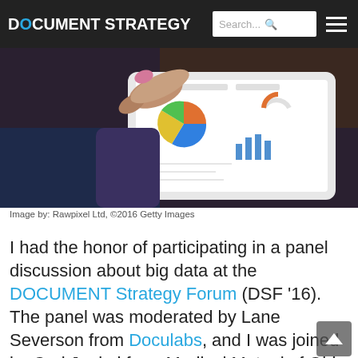DOCUMENT STRATEGY
[Figure (photo): Person holding a tablet showing dashboard analytics and charts]
Image by: Rawpixel Ltd, ©2016 Getty Images
I had the honor of participating in a panel discussion about big data at the DOCUMENT Strategy Forum (DSF '16). The panel was moderated by Lane Severson from Doculabs, and I was joined by Carl Jaekel from Medical Mutual of Ohio and Declan Moss and Brett Collins from Navistar. We had a lively and very interactive discussion with lots of great audience